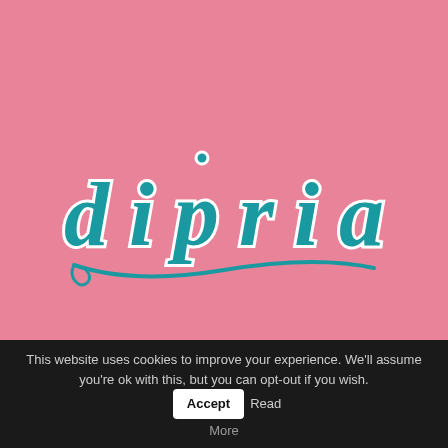[Figure (logo): Dipria brand logo in teal/turquoise cursive script lettering with white outline, on a pink background]
This website uses cookies to improve your experience. We'll assume you're ok with this, but you can opt-out if you wish. Accept Read More